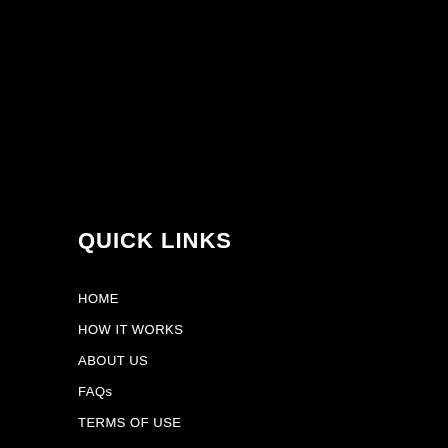QUICK LINKS
HOME
HOW IT WORKS
ABOUT US
FAQs
TERMS OF USE
WE ACCEPT
[Figure (logo): PayPal logo with blue 'P' icon and 'PayPal' text in blue]